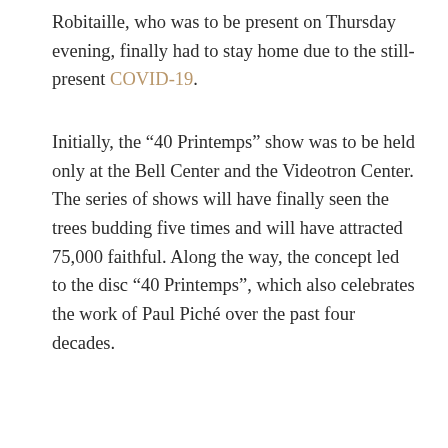Robitaille, who was to be present on Thursday evening, finally had to stay home due to the still-present COVID-19.
Initially, the ‘40 Printemps” show was to be held only at the Bell Center and the Videotron Center. The series of shows will have finally seen the trees budding five times and will have attracted 75,000 faithful. Along the way, the concept led to the disc ‘40 Printemps”, which also celebrates the work of Paul Piché over the past four decades.